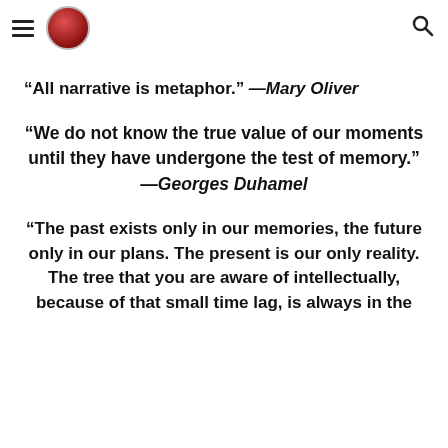[menu icon] [logo] [search icon]
“All narrative is metaphor.” —Mary Oliver
“We do not know the true value of our moments until they have undergone the test of memory.” —Georges Duhamel
“The past exists only in our memories, the future only in our plans. The present is our only reality. The tree that you are aware of intellectually, because of that small time lag, is always in the